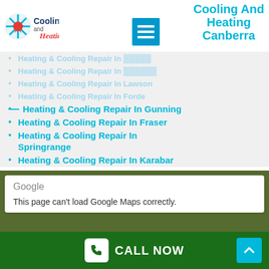suburbs
[Figure (logo): Cooling and Heating logo with snowflake and sun icon]
Cooling And Heating Canberra
Heating & Cooling Repair In [faded]
Heating & Cooling Repair In [faded]
Heating & Cooling Repair In Lawson (faded)
Heating & Cooling Repair In Forde (faded)
Heating & Cooling Repair In Gunning
Heating & Cooling Repair In Fraser
Heating & Cooling Repair In Springrange
Heating & Cooling Repair In Karabar
[Figure (screenshot): Google Maps embed showing error: This page can't load Google Maps correctly.]
CALL NOW